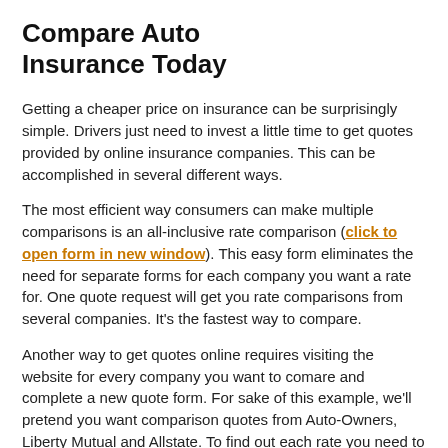Compare Auto Insurance Today
Getting a cheaper price on insurance can be surprisingly simple. Drivers just need to invest a little time to get quotes provided by online insurance companies. This can be accomplished in several different ways.
The most efficient way consumers can make multiple comparisons is an all-inclusive rate comparison (click to open form in new window). This easy form eliminates the need for separate forms for each company you want a rate for. One quote request will get you rate comparisons from several companies. It's the fastest way to compare.
Another way to get quotes online requires visiting the website for every company you want to comare and complete a new quote form. For sake of this example, we'll pretend you want comparison quotes from Auto-Owners, Liberty Mutual and Allstate. To find out each rate you need to take the time to go to each site to input your insurance information, and that's why the first method is more popular. For a list of links to